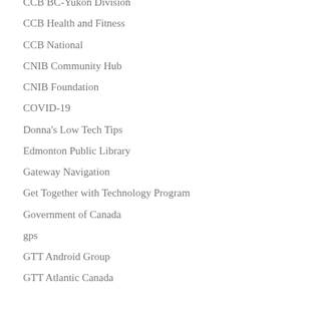CCB BC-Yukon Division
CCB Health and Fitness
CCB National
CNIB Community Hub
CNIB Foundation
COVID-19
Donna's Low Tech Tips
Edmonton Public Library
Gateway Navigation
Get Together with Technology Program
Government of Canada
gps
GTT Android Group
GTT Atlantic Canada